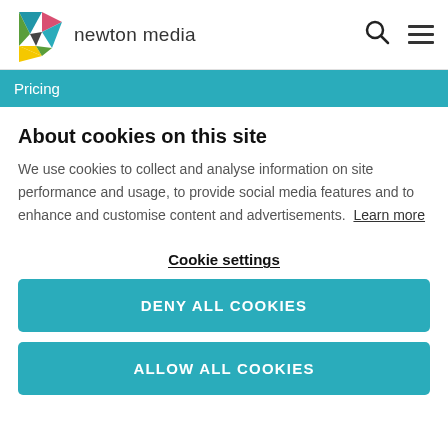[Figure (logo): Newton Media colorful star logo with text 'newton media']
Pricing
About cookies on this site
We use cookies to collect and analyse information on site performance and usage, to provide social media features and to enhance and customise content and advertisements.  Learn more
Cookie settings
DENY ALL COOKIES
ALLOW ALL COOKIES